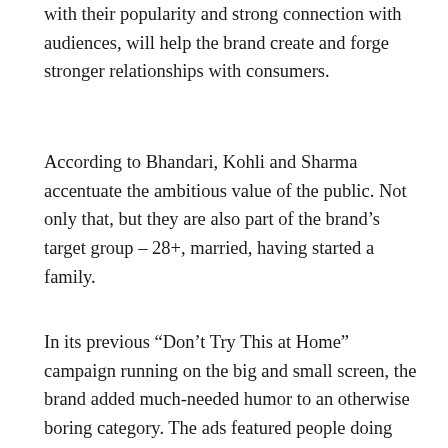with their popularity and strong connection with audiences, will help the brand create and forge stronger relationships with consumers.
According to Bhandari, Kohli and Sharma accentuate the ambitious value of the public. Not only that, but they are also part of the brand's target group – 28+, married, having started a family.
In its previous “Don’t Try This at Home” campaign running on the big and small screen, the brand added much-needed humor to an otherwise boring category. The ads featured people doing everyday things like laundry and cooking in unsafe ways due to poorly designed furniture and home spaces. However, while brand advertising made the right noise, the company was called out loud by angry customers about delayed projects and the unprofessional behavior of relationship managers, civilian staff